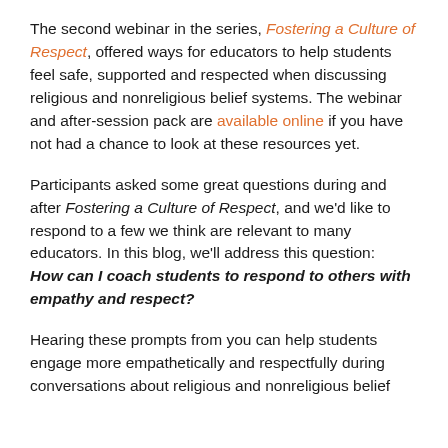The second webinar in the series, Fostering a Culture of Respect, offered ways for educators to help students feel safe, supported and respected when discussing religious and nonreligious belief systems. The webinar and after-session pack are available online if you have not had a chance to look at these resources yet.
Participants asked some great questions during and after Fostering a Culture of Respect, and we'd like to respond to a few we think are relevant to many educators. In this blog, we'll address this question: How can I coach students to respond to others with empathy and respect?
Hearing these prompts from you can help students engage more empathetically and respectfully during conversations about religious and nonreligious belief...